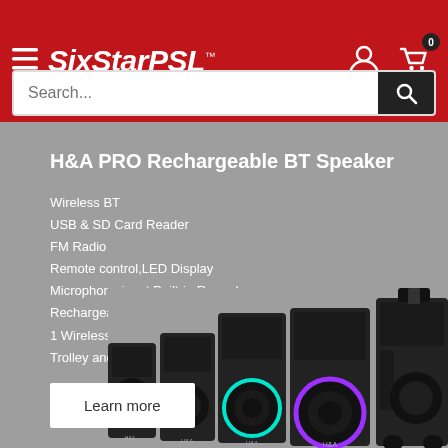SixStarPSL
Search...
H&A PRO Rechargeable BT Speaker
Wireless BT
USB & SD Card Reader
FM Radio
Remote control,LED Display
Microphone input,Built-in Recorder
Rechargeable Battery
1 Wireless Microphone
Trolley and Wheels
[Figure (photo): Multiple H&A PRO rechargeable Bluetooth speakers of different sizes displayed side by side on a gray background, including models with LED rings in teal and purple colors, and one with trolley wheels]
Learn more